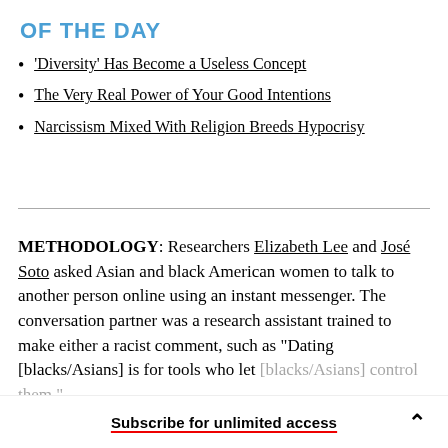OF THE DAY
'Diversity' Has Become a Useless Concept
The Very Real Power of Your Good Intentions
Narcissism Mixed With Religion Breeds Hypocrisy
METHODOLOGY: Researchers Elizabeth Lee and José Soto asked Asian and black American women to talk to another person online using an instant messenger. The conversation partner was a research assistant trained to make either a racist comment, such as "Dating [blacks/Asians] is for tools who let [blacks/Asians] control them," or a ...
Subscribe for unlimited access